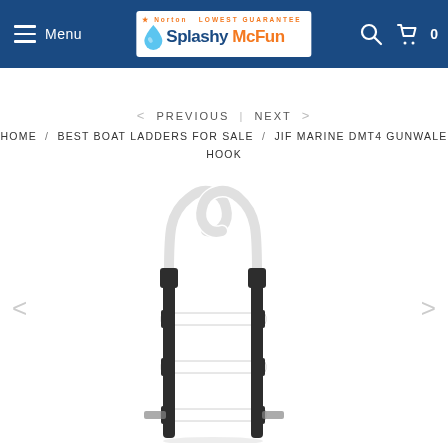Menu | Splashy McFun | Search | Cart 0
< PREVIOUS  |  NEXT >
HOME / BEST BOAT LADDERS FOR SALE / JIF MARINE DMT4 GUNWALE HOOK LADDER
[Figure (photo): JIF Marine DMT4 Gunwale Hook Ladder - a white and dark grey/black metal boat ladder with two curved hook tops and three rungs, shown against a white background]